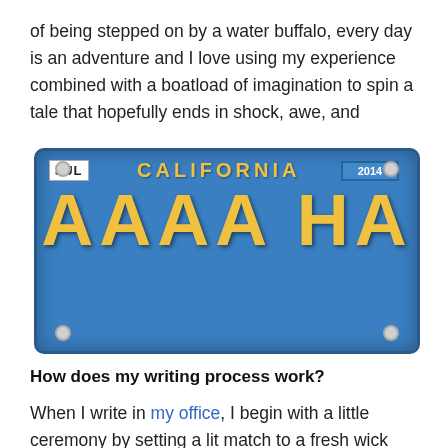of being stepped on by a water buffalo, every day is an adventure and I love using my experience combined with a boatload of imagination to spin a tale that hopefully ends in shock, awe, and
[Figure (photo): A blue California license plate reading 'AAAA HA' with a JUL registration sticker and a 2014 tag sticker.]
How does my writing process work?
When I write in my office, I begin with a little ceremony by setting a lit match to a fresh wick and saying: “As I light this candle of imagination, I call upon my M...